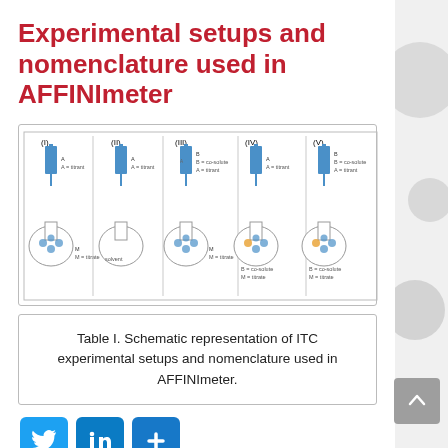Experimental setups and nomenclature used in AFFINImeter
[Figure (schematic): Schematic representation of five ITC experimental setups labeled (I) through (V), each showing a syringe/titrant above a flask/cell. Setup (I): syringe with A=titrant, flask with M=titrate. Setup (II): syringe with A=titrant, flask with solvent. Setup (III): syringe with B=co-solute and A=titrant, flask with M=titrate. Setup (IV): syringe with A=titrant, flask with B=co-solute and M=titrate. Setup (V): syringe with B=co-solute and A=titrant, flask with B=co-solute and M=titrate.]
Table I. Schematic representation of ITC experimental setups and nomenclature used in AFFINImeter.
[Figure (illustration): Social media share buttons: Twitter, LinkedIn, and a generic share/plus button]